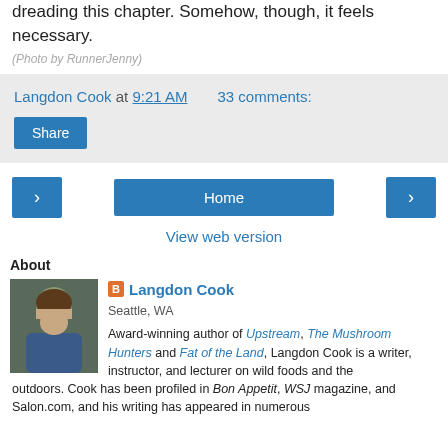dreading this chapter. Somehow, though, it feels necessary.
(Photo by RunnerJenny)
Langdon Cook at 9:21 AM   33 comments:
Share
< Home >
View web version
About
[Figure (photo): Headshot of Langdon Cook, a man in a blue jacket outdoors]
Langdon Cook
Seattle, WA
Award-winning author of Upstream, The Mushroom Hunters and Fat of the Land, Langdon Cook is a writer, instructor, and lecturer on wild foods and the outdoors. Cook has been profiled in Bon Appetit, WSJ magazine, and Salon.com, and his writing has appeared in numerous